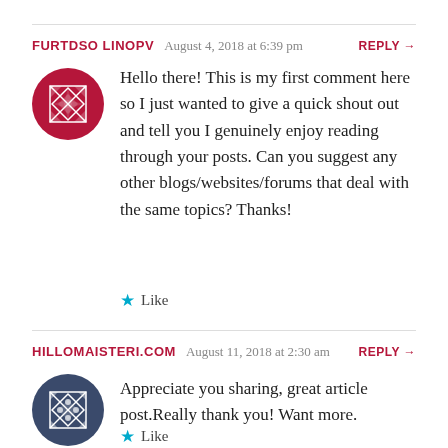FURTDSO LINOPV  August 4, 2018 at 6:39 pm  REPLY →
[Figure (illustration): Avatar icon with geometric quilt pattern in dark red/maroon]
Hello there! This is my first comment here so I just wanted to give a quick shout out and tell you I genuinely enjoy reading through your posts. Can you suggest any other blogs/websites/forums that deal with the same topics? Thanks!
★ Like
HILLOMAISTERI.COM  August 11, 2018 at 2:30 am  REPLY →
[Figure (illustration): Avatar icon with geometric pattern in dark navy/blue]
Appreciate you sharing, great article post.Really thank you! Want more.
★ Like